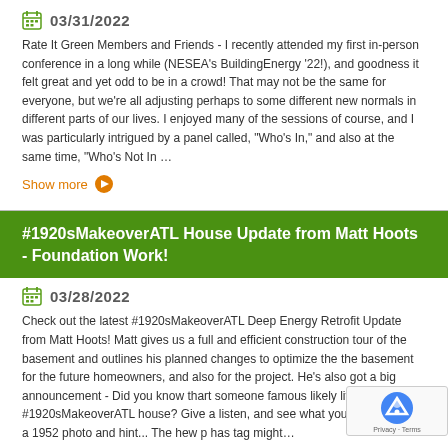03/31/2022
Rate It Green Members and Friends -  I recently attended my first in-person conference in a long while (NESEA's BuildingEnergy '22!), and goodness it felt great and yet odd to be in a crowd!  That may not be the same for everyone, but we're all adjusting perhaps to some different new normals in different parts of our lives.   I enjoyed many of the sessions of course, and I was particularly intrigued by a panel called, "Who's In," and also at the same time, "Who's Not In …
Show more
#1920sMakeoverATL House Update from Matt Hoots - Foundation Work!
03/28/2022
Check out the latest #1920sMakeoverATL Deep Energy Retrofit Update from Matt Hoots!  Matt gives us a full and efficient construction tour of the basement and outlines his planned changes to optimize the the basement for the future homeowners, and also for the project.   He's also got a big announcement - Did you know thart someone famous likely lived in the #1920sMakeoverATL house?  Give a listen, and see what you think! Here's a 1952 photo and hint...   The hew p has tag might…
Show more